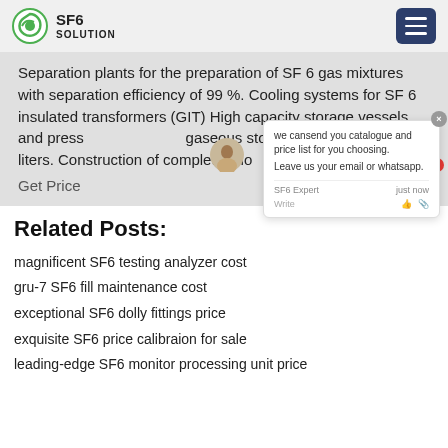SF6 SOLUTION
Separation plants for the preparation of SF 6 gas mixtures with separation efficiency of 99 %. Cooling systems for SF 6 insulated transformers (GIT) High capacity storage vessels and pressure vessels for gaseous storage of SF 6 from 1,000 liters. Construction of complete shops for GIS production.
Get Price
Related Posts:
magnificent SF6 testing analyzer cost
gru-7 SF6 fill maintenance cost
exceptional SF6 dolly fittings price
exquisite SF6 price calibraion for sale
leading-edge SF6 monitor processing unit price